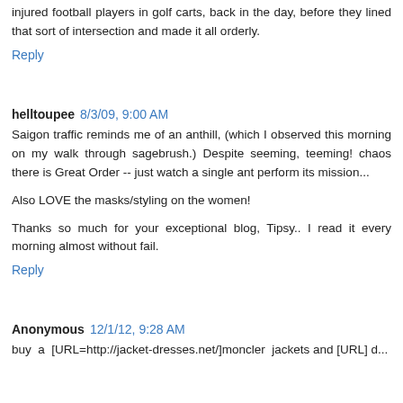injured football players in golf carts, back in the day, before they lined that sort of intersection and made it all orderly.
Reply
helltoupee  8/3/09, 9:00 AM
Saigon traffic reminds me of an anthill, (which I observed this morning on my walk through sagebrush.) Despite seeming, teeming! chaos there is Great Order -- just watch a single ant perform its mission...
Also LOVE the masks/styling on the women!
Thanks so much for your exceptional blog, Tipsy.. I read it every morning almost without fail.
Reply
Anonymous  12/1/12, 9:28 AM
buy a [URL=http://jacket-dresses.net/]moncler jackets and [URL] d...